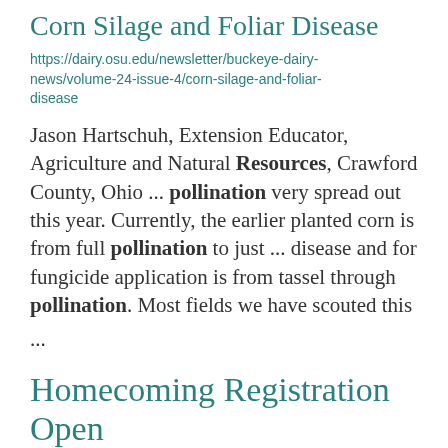Corn Silage and Foliar Disease
https://dairy.osu.edu/newsletter/buckeye-dairy-news/volume-24-issue-4/corn-silage-and-foliar-disease
Jason Hartschuh, Extension Educator, Agriculture and Natural Resources, Crawford County, Ohio ... pollination very spread out this year. Currently, the earlier planted corn is from full pollination to just ... disease and for fungicide application is from tassel through pollination. Most fields we have scouted this
...
Homecoming Registration Open
https://advancement.cfaes.ohio-state.edu/email/homecoming-registration-open